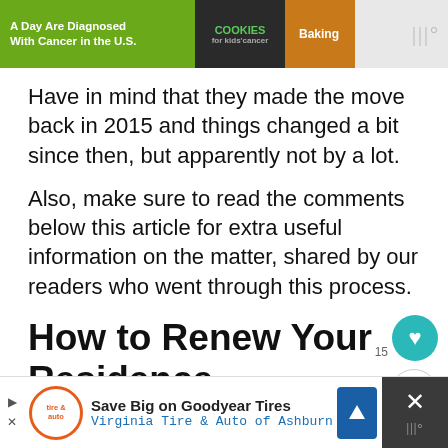[Figure (screenshot): Top advertisement banner showing 'A Day Are Diagnosed With Cancer in the U.S.' with Cookies for kids' cancer and Baking sections]
Have in mind that they made the move back in 2015 and things changed a bit since then, but apparently not by a lot.
Also, make sure to read the comments below this article for extra useful information on the matter, shared by our readers who went through this process.
How to Renew Your Residence Permit in Romania
[Figure (screenshot): Bottom advertisement banner: Save Big on Goodyear Tires - Virginia Tire & Auto of Ashburn]